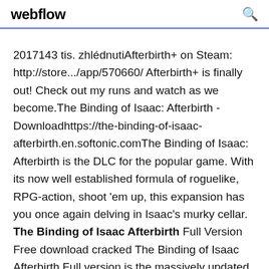webflow
2017143 tis. zhlédnutiAfterbirth+ on Steam: http://store.../app/570660/ Afterbirth+ is finally out! Check out my runs and watch as we become.The Binding of Isaac: Afterbirth - Downloadhttps://the-binding-of-isaac-afterbirth.en.softonic.comThe Binding of Isaac: Afterbirth is the DLC for the popular game. With its now well established formula of roguelike, RPG-action, shoot 'em up, this expansion has you once again delving in Isaac's murky cellar. The Binding of Isaac Afterbirth Full Version Free download cracked The Binding of Isaac Afterbirth Full version is the massively updated expansion to 2014's roguelike of the season